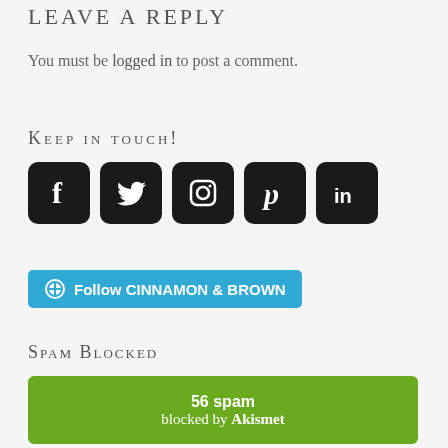Leave A Reply
You must be logged in to post a comment.
Keep in touch!
[Figure (illustration): Five social media icons in dark rounded squares: Facebook (f), Twitter (bird), Instagram (camera), Pinterest (P), LinkedIn (in)]
[Figure (illustration): WordPress Follow button: blue rounded rectangle with WordPress logo and text 'Follow CINNAMON & BROWN']
Spam Blocked
[Figure (illustration): Green rounded rectangle with text '56 spam blocked by Akismet']